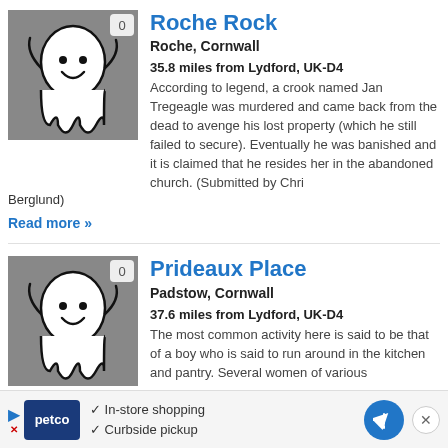[Figure (illustration): Ghost cartoon icon on grey background with badge showing 0]
Roche Rock
Roche, Cornwall
35.8 miles from Lydford, UK-D4
According to legend, a crook named Jan Tregeagle was murdered and came back from the dead to avenge his lost property (which he still failed to secure). Eventually he was banished and it is claimed that he resides here in the abandoned church. (Submitted by Chris Berglund)
Read more »
[Figure (illustration): Ghost cartoon icon on grey background with badge showing 0]
Prideaux Place
Padstow, Cornwall
37.6 miles from Lydford, UK-D4
The most common activity here is said to be that of a boy who is said to run around in the kitchen and pantry. Several women of various